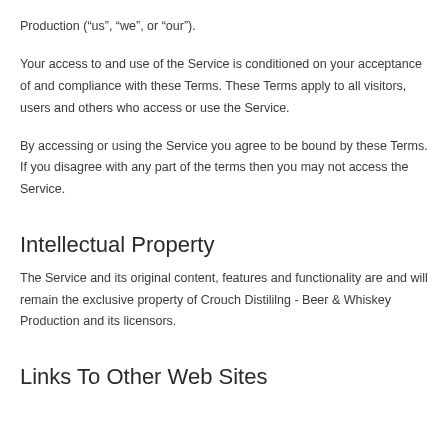Production (“us”, “we”, or “our”).
Your access to and use of the Service is conditioned on your acceptance of and compliance with these Terms. These Terms apply to all visitors, users and others who access or use the Service.
By accessing or using the Service you agree to be bound by these Terms. If you disagree with any part of the terms then you may not access the Service.
Intellectual Property
The Service and its original content, features and functionality are and will remain the exclusive property of Crouch Distililng - Beer & Whiskey Production and its licensors.
Links To Other Web Sites